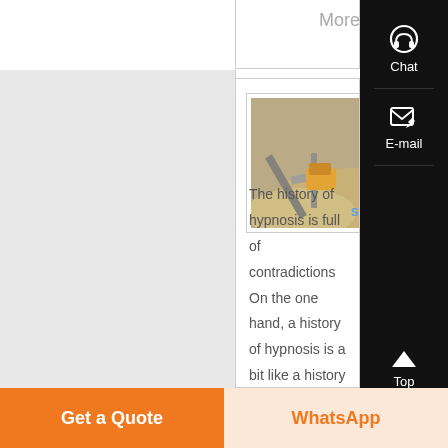More
[Figure (screenshot): Screenshot of a webpage showing an article with a construction/mining site photo and the title 'The History of Hypnosis' with partial article text. Right sidebar shows Chat, E-mail, and Top navigation buttons on dark background. Bottom has orange 'Get a Quote' and WhatsApp buttons.]
The History of Hypnosis
The history of hypnosis is full of contradictions On the one hand, a history of hypnosis is a bit like a history
Chat
E-mail
Top
Get a Quote
WhatsApp